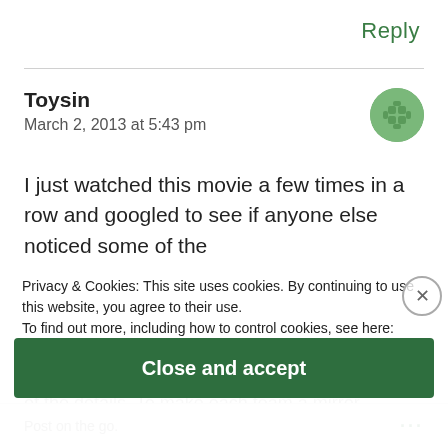Reply
Toysin
March 2, 2013 at 5:43 pm
I just watched this movie a few times in a row and googled to see if anyone else noticed some of the details of the details in the film. I have often seen mention of the details. To make each team a mirror image ... American, the African American, the young blonde
Privacy & Cookies: This site uses cookies. By continuing to use this website, you agree to their use.
To find out more, including how to control cookies, see here:
Cookie Policy
Close and accept